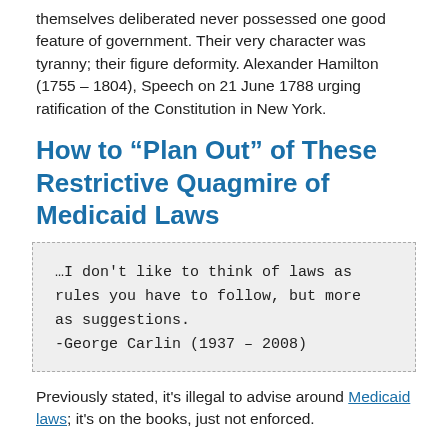themselves deliberated never possessed one good feature of government. Their very character was tyranny; their figure deformity. Alexander Hamilton (1755 – 1804), Speech on 21 June 1788 urging ratification of the Constitution in New York.
How to “Plan Out” of These Restrictive Quagmire of Medicaid Laws
…I don’t like to think of laws as rules you have to follow, but more as suggestions.
-George Carlin (1937 – 2008)
Previously stated, it’s illegal to advise around Medicaid laws; it’s on the books, just not enforced.